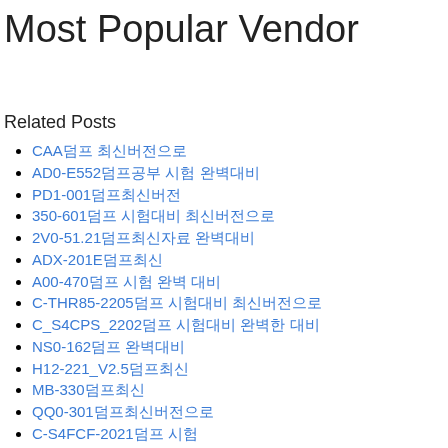Most Popular Vendor
Related Posts
CAA덤프 최신버전으로
AD0-E552덤프공부 시험 완벽대비
PD1-001덤프최신버전
350-601덤프 시험대비 최신버전으로
2V0-51.21덤프최신자료 완벽대비
ADX-201E덤프최신
A00-470덤프 시험 완벽 대비
C-THR85-2205덤프 시험대비 최신버전으로
C_S4CPS_2202덤프 시험대비 완벽한 대비
NS0-162덤프 완벽대비
H12-221_V2.5덤프최신
MB-330덤프최신
QQ0-301덤프최신버전으로
C-S4FCF-2021덤프 시험
C_LUMIRA_24덤프 시험 완벽대비